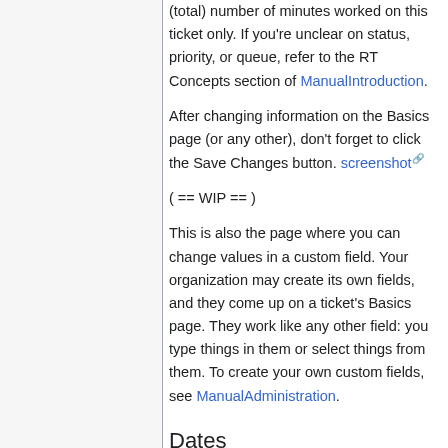(total) number of minutes worked on this ticket only. If you're unclear on status, priority, or queue, refer to the RT Concepts section of ManualIntroduction.
After changing information on the Basics page (or any other), don't forget to click the Save Changes button. screenshot
( == WIP == )
This is also the page where you can change values in a custom field. Your organization may create its own fields, and they come up on a ticket's Basics page. They work like any other field: you type things in them or select things from them. To create your own custom fields, see ManualAdministration.
Dates
ManualTicketDates